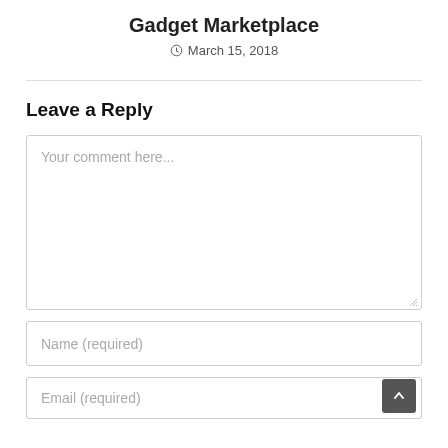Gadget Marketplace
March 15, 2018
Leave a Reply
Your comment here...
Name (required)
Email (required)